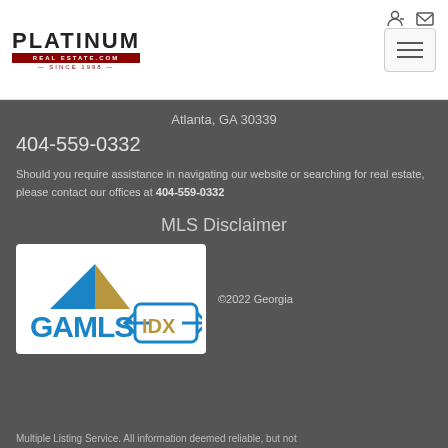[Figure (logo): Platinum Real Estate .com Since 1998 logo with red bar]
[Figure (illustration): Hamburger menu button with three horizontal lines]
Atlanta, GA 30339
404-559-0332
Should you require assistance in navigating our website or searching for real estate, please contact our offices at 404-559-0332
MLS Disclaimer
[Figure (logo): GAMLS IDX logo — house with roof arrow shapes and GAMLS IDX text in blue and gold]
©2022 Georgia
Multiple Listing Service. All information deemed reliable, but not